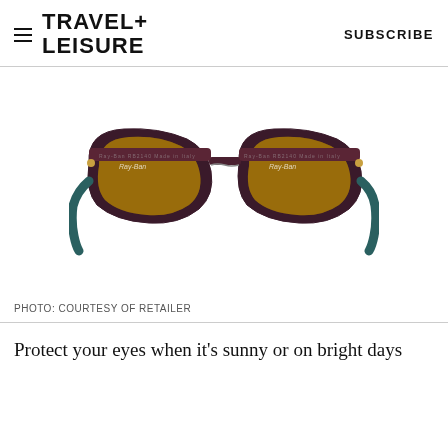TRAVEL+ LEISURE   SUBSCRIBE
[Figure (photo): Ray-Ban Wayfarer sunglasses with dark reddish-brown/purple frame and amber/brown lenses on white background]
PHOTO: COURTESY OF RETAILER
Protect your eyes when it's sunny or on bright days